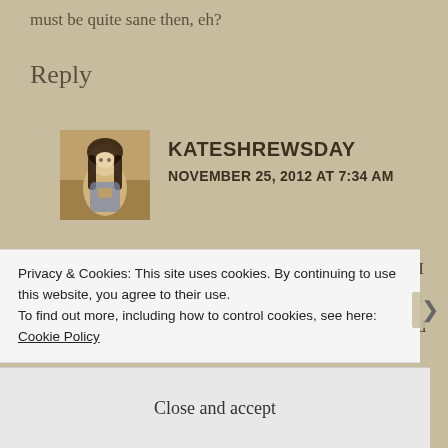must be quite sane then, eh?
Reply
KATESHREWSDAY
NOVEMBER 25, 2012 AT 7:34 AM
[Figure (photo): Avatar photo of commenter kateshrewsday showing a painted or illustrated figure]
I'd say so, Tammy, although in defence of my sanity I will say I was not picking peas out by choice exactly: more because I'm the sort of scatty person who would
Privacy & Cookies: This site uses cookies. By continuing to use this website, you agree to their use.
To find out more, including how to control cookies, see here: Cookie Policy
Close and accept